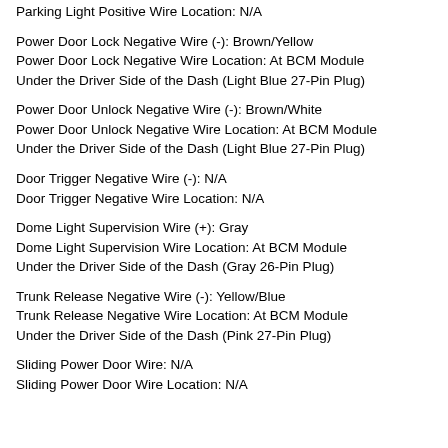Parking Light Positive Wire Location: N/A
Power Door Lock Negative Wire (-): Brown/Yellow
Power Door Lock Negative Wire Location: At BCM Module Under the Driver Side of the Dash (Light Blue 27-Pin Plug)
Power Door Unlock Negative Wire (-): Brown/White
Power Door Unlock Negative Wire Location: At BCM Module Under the Driver Side of the Dash (Light Blue 27-Pin Plug)
Door Trigger Negative Wire (-): N/A
Door Trigger Negative Wire Location: N/A
Dome Light Supervision Wire (+): Gray
Dome Light Supervision Wire Location: At BCM Module Under the Driver Side of the Dash (Gray 26-Pin Plug)
Trunk Release Negative Wire (-): Yellow/Blue
Trunk Release Negative Wire Location: At BCM Module Under the Driver Side of the Dash (Pink 27-Pin Plug)
Sliding Power Door Wire: N/A
Sliding Power Door Wire Location: N/A